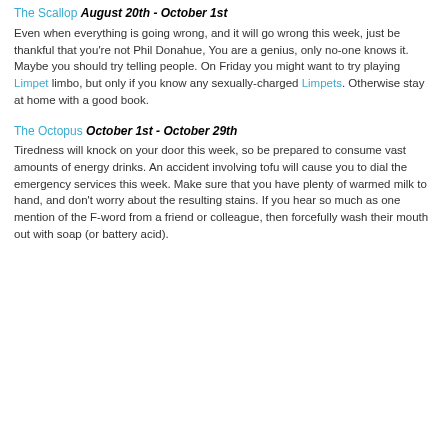doctor for advice. Take note of the old saying 'An Oyster and a Scallop is like quarter pounder and cheese...only without the cheese'.
The Scallop August 20th - October 1st
Even when everything is going wrong, and it will go wrong this week, just be thankful that you're not Phil Donahue, You are a genius, only no-one knows it. Maybe you should try telling people. On Friday you might want to try playing Limpet limbo, but only if you know any sexually-charged Limpets. Otherwise stay at home with a good book.
The Octopus October 1st - October 29th
Tiredness will knock on your door this week, so be prepared to consume vast amounts of energy drinks. An accident involving tofu will cause you to dial the emergency services this week. Make sure that you have plenty of warmed milk to hand, and don't worry about the resulting stains. If you hear so much as one mention of the F-word from a friend or colleague, then forcefully wash their mouth out with soap (or battery acid).